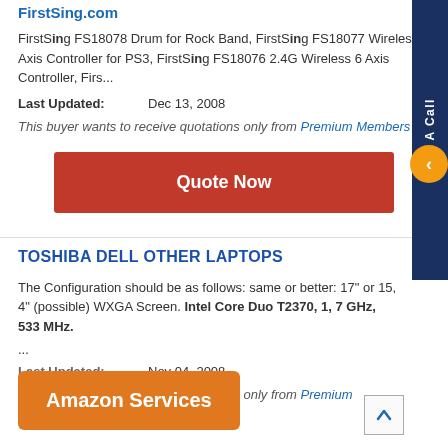FirstSing.com
FirstSing FS18078 Drum for Rock Band, FirstSing FS18077 Wireless 3 Axis Controller for PS3, FirstSing FS18076 2.4G Wireless 6 Axis Controller, Firs...
Last Updated: Dec 13, 2008
This buyer wants to receive quotations only from Premium Members .
Quote Now
TOSHIBA DELL OTHER LAPTOPS
The Configuration should be as follows: same or better: 17" or 15, 4" (possible) WXGA Screen. Intel Core Duo T2370, 1, 7 GHz, 533 MHz. ...
Last Updated: Nov 04, 2008
This buyer wants to receive quotations only from Premium Members .
Amazon Services